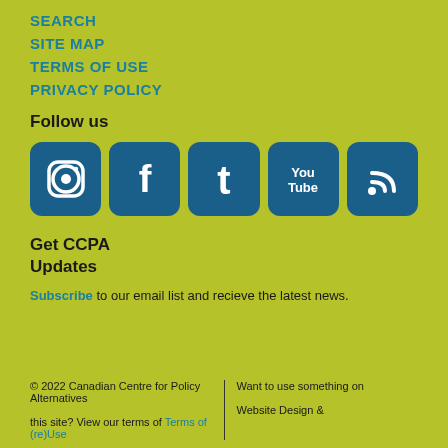SEARCH
SITE MAP
TERMS OF USE
PRIVACY POLICY
Follow us
[Figure (logo): Social media icons row: Instagram, Facebook, Twitter, YouTube, RSS feed — all white icons on dark blue rounded square backgrounds]
Get CCPA Updates
Subscribe to our email list and recieve the latest news.
© 2022 Canadian Centre for Policy Alternatives | Want to use something on this site? View our terms of Terms of (re)Use | Website Design &